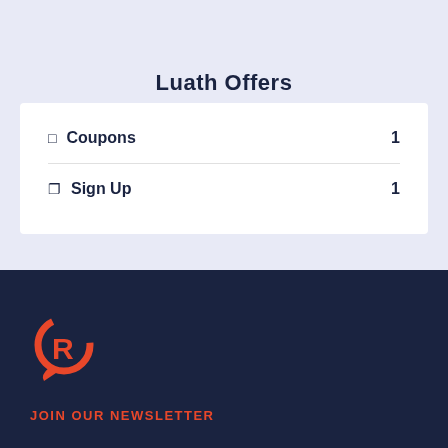Luath Offers
Coupons  1
Sign Up  1
[Figure (logo): Rappler-style R logo in orange/red on dark navy background]
JOIN OUR NEWSLETTER